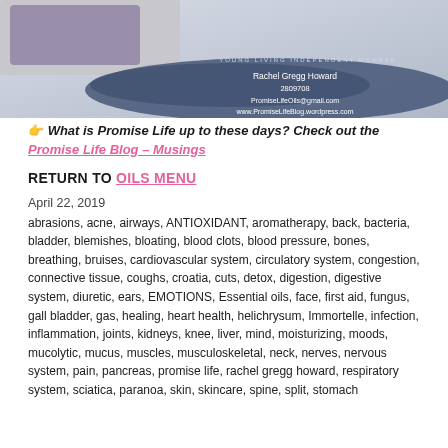[Figure (photo): Header banner image showing a Young Living product with dark blue watercolor brush stroke overlay containing text: 'YOUNG LIVING INDEPENDENT MEMBER', 'Rachel Gregg Howard', '2809708', 'PromiseLifeOils@gmail.com', 'www.PromiseLifeBlog.wordpress.com']
👉 What is Promise Life up to these days? Check out the Promise Life Blog – Musings
RETURN TO OILS MENU
April 22, 2019
abrasions, acne, airways, ANTIOXIDANT, aromatherapy, back, bacteria, bladder, blemishes, bloating, blood clots, blood pressure, bones, breathing, bruises, cardiovascular system, circulatory system, congestion, connective tissue, coughs, croatia, cuts, detox, digestion, digestive system, diuretic, ears, EMOTIONS, Essential oils, face, first aid, fungus, gall bladder, gas, healing, heart health, helichrysum, Immortelle, infection, inflammation, joints, kidneys, knee, liver, mind, moisturizing, moods, mucolytic, mucus, muscles, musculoskeletal, neck, nerves, nervous system, pain, pancreas, promise life, rachel gregg howard, respiratory system, sciatica, paranoa, skin, skincare, spine, split, stomach